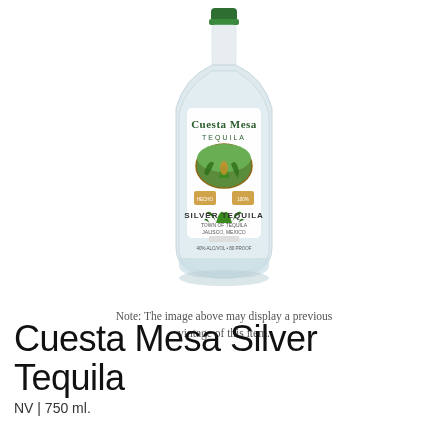[Figure (photo): A bottle of Cuesta Mesa Silver Tequila - clear glass bottle with green cap, label showing 'Cuesta Mesa Tequila' in stylized script with a circular illustration of an agave field and farmworker. Label text includes 'SILVER TEQUILA', 'TOWN OF TEQUILA', 'JALISCO, MEXICO', '40% ALC/VOL • 80 PROOF'.]
Note: The image above may display a previous vintage of this item.
Cuesta Mesa Silver Tequila
NV | 750 ml.